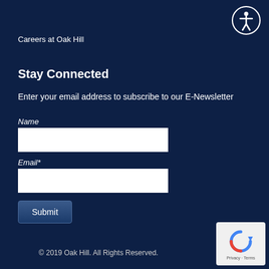[Figure (illustration): Accessibility icon — white figure with arms outstretched inside a circle, on dark navy background]
Careers at Oak Hill
Stay Connected
Enter your email address to subscribe to our E-Newsletter
Name
Email*
Submit
[Figure (logo): Google reCAPTCHA widget with refresh icon and Privacy - Terms text]
© 2019 Oak Hill. All Rights Reserved.